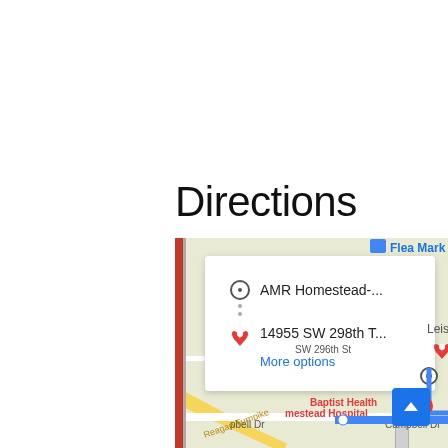Directions
[Figure (screenshot): Google Maps screenshot showing directions from AMR Homestead to 14955 SW 298th T... with a popup overlay showing origin 'AMR Homestead-...' and destination '14955 SW 298th T...' with a 'More options' link in blue. The map shows Leisure City area, Baptist Health Homestead Hospital, SW 296th St, Campbell Dr, and Reagan Turnpike. A blue route line is drawn on the map. A destination pin (red) is visible at 14955 South 298th Terra. Scale indicator shows 5 miles.]